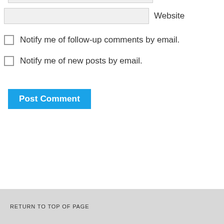[Figure (screenshot): Partial text input field at top of page (Website field partially visible)]
Website
Notify me of follow-up comments by email.
Notify me of new posts by email.
Post Comment
RETURN TO TOP OF PAGE